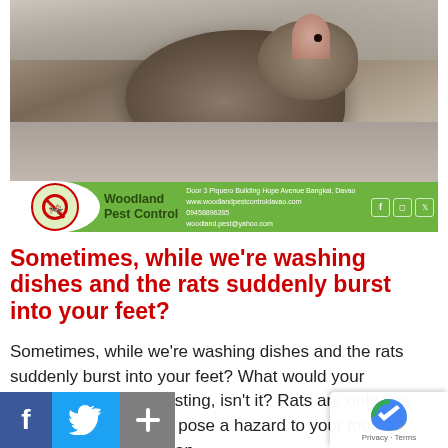[Figure (photo): Close-up photo of a rat near a concrete surface, with a Woodland Pest Control company banner/logo overlay at the bottom. The green banner includes the company name, address (Door 3 Piquero Building Hope Avenue Bangkal, Davao), website (www.woodlandpestcontroldavao.com), phone (09458896285), email (woodland.pest@yahoo.com), and social media icons.]
Sometimes, while we're washing dishes and the rats suddenly burst into your feet?
Sometimes, while we're washing dishes and the rats suddenly burst into your feet? What would your reaction be? It's disgusting, isn't it? Rats are only one sort of pest that might pose a hazard to your food company. Be prudent and worst-case situation! Woodland Pest Control services Door 3 Piquero Building Hope